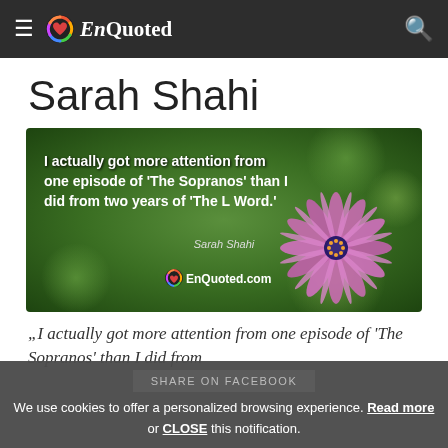EnQuoted
Sarah Shahi
[Figure (photo): Quote image with flower background: 'I actually got more attention from one episode of The Sopranos than I did from two years of The L Word.' — Sarah Shahi. EnQuoted.com logo at bottom.]
„I actually got more attention from one episode of 'The Sopranos' than I did from
We use cookies to offer a personalized browsing experience. Read more or CLOSE this notification.